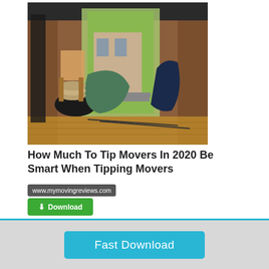[Figure (photo): Interior of a moving truck loaded with furniture and household items, viewed from the back opening showing items including chairs, cushions, and a green covered piece, with a driveway and house visible outside.]
How Much To Tip Movers In 2020 Be Smart When Tipping Movers
www.mymovingreviews.com
Download
Fast Download